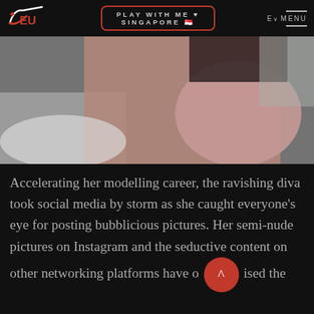PLAY WITH ME ♥ SINGAPORE 🇸🇬  Ev MENU
[Figure (photo): A woman in a pink negligee with black lace top, seated or leaning, photographed from above/behind on a bed with white bedding.]
Accelerating her modelling career, the ravishing diva took social media by storm as she caught everyone's eye for posting bubblicious pictures. Her semi-nude pictures on Instagram and the seductive content on other networking platforms have often raised the